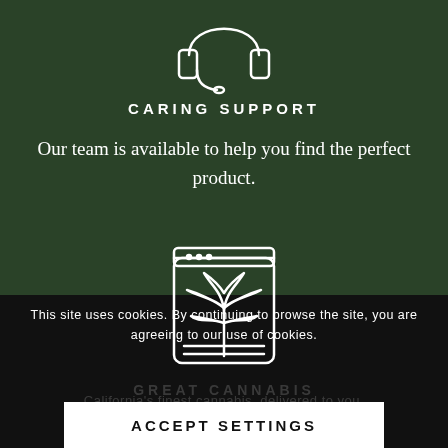[Figure (illustration): White line icon of a headset/customer support headphones with microphone on dark green background]
CARING SUPPORT
Our team is available to help you find the perfect product.
[Figure (illustration): White line icon of a cannabis jar/container with a cannabis leaf inside on dark green background]
GREAT CANNABIS
This site uses cookies. By continuing to browse the site, you are agreeing to our use of cookies.
California's finest cannabis, delivered to you.
ACCEPT SETTINGS